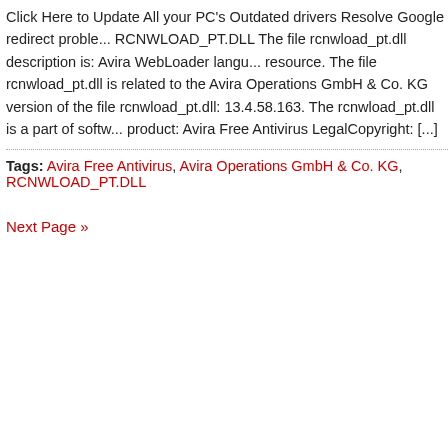Click Here to Update All your PC's Outdated drivers Resolve Google redirect proble... RCNWLOAD_PT.DLL The file rcnwload_pt.dll description is: Avira WebLoader langu... resource. The file rcnwload_pt.dll is related to the Avira Operations GmbH & Co. KG version of the file rcnwload_pt.dll: 13.4.58.163. The rcnwload_pt.dll is a part of softw... product: Avira Free Antivirus LegalCopyright: [...]
Tags: Avira Free Antivirus, Avira Operations GmbH & Co. KG, RCNWLOAD_PT.DLL
Next Page »